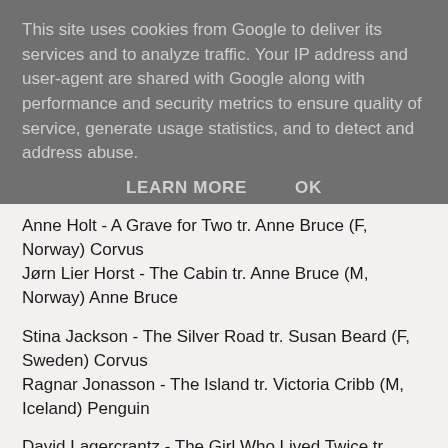This site uses cookies from Google to deliver its services and to analyze traffic. Your IP address and user-agent are shared with Google along with performance and security metrics to ensure quality of service, generate usage statistics, and to detect and address abuse.
LEARN MORE   OK
Anne Holt - A Grave for Two tr. Anne Bruce (F, Norway) Corvus
Jørn Lier Horst - The Cabin tr. Anne Bruce (M, Norway) Anne Bruce
Stina Jackson - The Silver Road tr. Susan Beard (F, Sweden) Corvus
Ragnar Jonasson - The Island tr. Victoria Cribb (M, Iceland) Penguin
David Lagercrantz - The Girl Who Lived Twice tr. George Goulding (M, Sweden) MacLehose Press
Leena Lehtolainen - Where Have All the Young Girls Gone tr. Owen F Witesman (F, Finland) AmazonCrossing